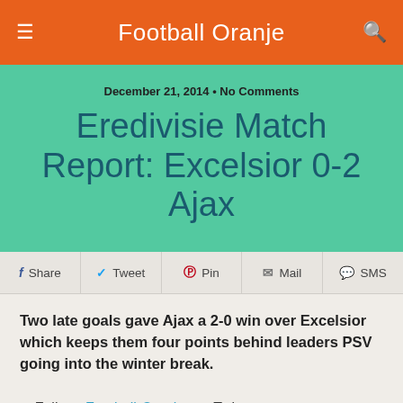Football Oranje
December 21, 2014 • No Comments
Eredivisie Match Report: Excelsior 0-2 Ajax
Share  Tweet  Pin  Mail  SMS
Two late goals gave Ajax a 2-0 win over Excelsior which keeps them four points behind leaders PSV going into the winter break.
Follow Football-Oranje on Twitter